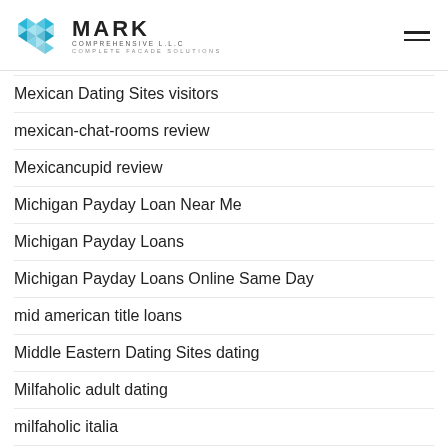MARK COMPREHENSIVE L.L.C — COMPLETE FACADE SOLUTIONS
Mexican Dating Sites visitors
mexican-chat-rooms review
Mexicancupid review
Michigan Payday Loan Near Me
Michigan Payday Loans
Michigan Payday Loans Online Same Day
mid american title loans
Middle Eastern Dating Sites dating
Milfaholic adult dating
milfaholic italia